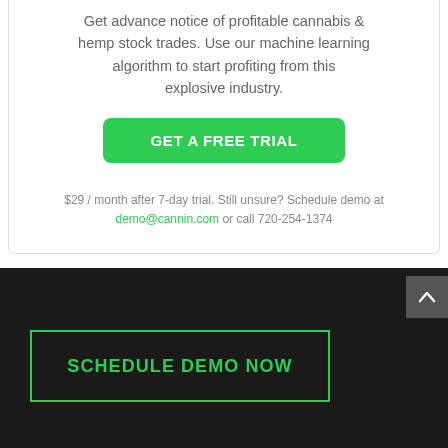Get advance notice of profitable cannabis & hemp stock trades. Use our machine learning algorithm to start profiting from this explosive industry.
GET A FREE TRIAL
$29 / month after 7-day trial. Still unsure? Schedule demo at demo@cannin.com or call 720-254-1374
SCHEDULE DEMO NOW